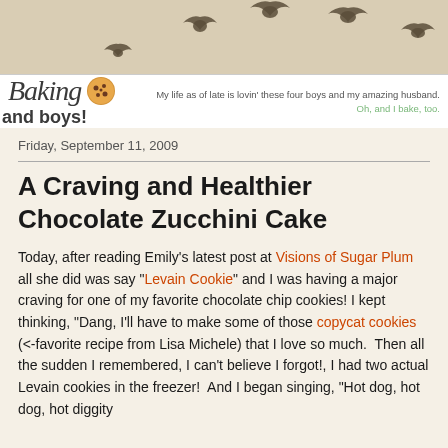[Figure (illustration): Blog header banner with flying bird silhouettes on a tan/beige background, and the blog logo strip below showing 'Baking and boys!' in script and bold text with a cookie icon and tagline.]
Friday, September 11, 2009
A Craving and Healthier Chocolate Zucchini Cake
Today, after reading Emily's latest post at Visions of Sugar Plum all she did was say "Levain Cookie" and I was having a major craving for one of my favorite chocolate chip cookies! I kept thinking, "Dang, I'll have to make some of those copycat cookies (<-favorite recipe from Lisa Michele) that I love so much.  Then all the sudden I remembered, I can't believe I forgot!, I had two actual Levain cookies in the freezer!  And I began singing, "Hot dog, hot dog, hot diggity